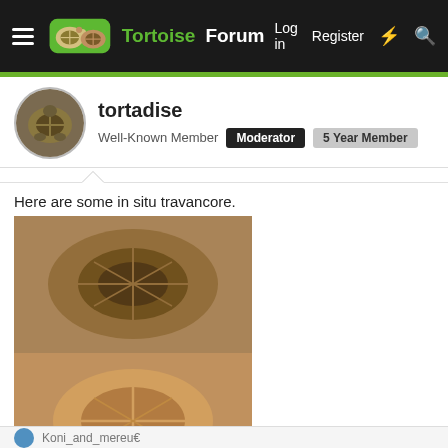TortoiseForum — Log in | Register
tortadise
Well-Known Member  Moderator  5 Year Member
Here are some in situ travancore.
[Figure (photo): Top-down view of a Travancore tortoise shell, brown/orange coloring]
[Figure (photo): Top-down view of a Travancore tortoise underside/plastron, tan/orange coloring]
[Figure (photo): Side/ground-level view of a small Travancore tortoise on dirt ground]
[Figure (photo): Partial view of Travancore tortoise among leaves/vegetation, dark setting]